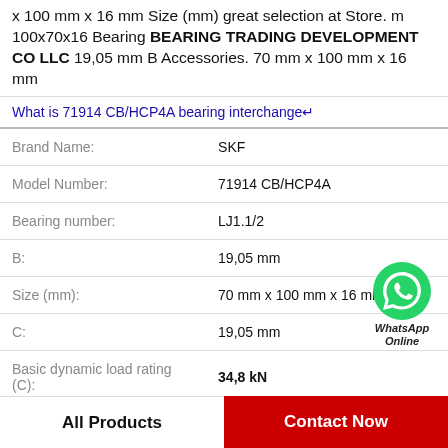x 100 mm x 16 mm Size (mm) great selection at Store. m 100x70x16 Bearing BEARING TRADING DEVELOPMENT CO LLC 19,05 mm B Accessories. 70 mm x 100 mm x 16 mm
What is 71914 CB/HCP4A bearing interchange↵
| Property | Value |
| --- | --- |
| Brand Name: | SKF |
| Model Number: | 71914 CB/HCP4A |
| Bearing number: | LJ1.1/2 |
| B: | 19,05 mm |
| Size (mm): | 70 mm x 100 mm x 16 mm |
| C: | 19,05 mm |
| Basic dynamic load rating (C): | 34,8 kN |
[Figure (logo): WhatsApp Online green phone icon with text 'WhatsApp Online']
All Products
Contact Now